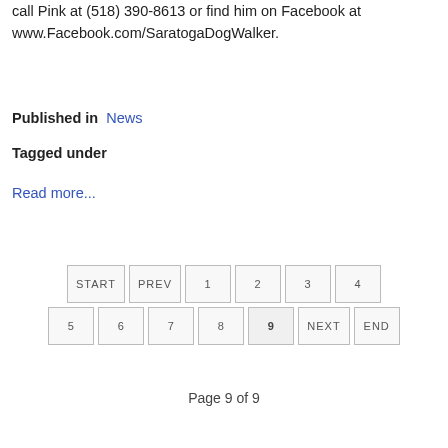call Pink at (518) 390-8613 or find him on Facebook at www.Facebook.com/SaratogaDogWalker.
Published in  News
Tagged under
Read more...
START  PREV  1  2  3  4  5  6  7  8  9  NEXT  END
Page 9 of 9